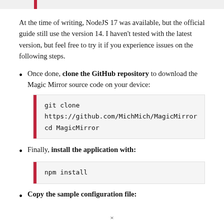At the time of writing, NodeJS 17 was available, but the official guide still use the version 14. I haven't tested with the latest version, but feel free to try it if you experience issues on the following steps.
Once done, clone the GitHub repository to download the Magic Mirror source code on your device:
git clone https://github.com/MichMich/MagicMirror
cd MagicMirror
Finally, install the application with:
npm install
Copy the sample configuration file: